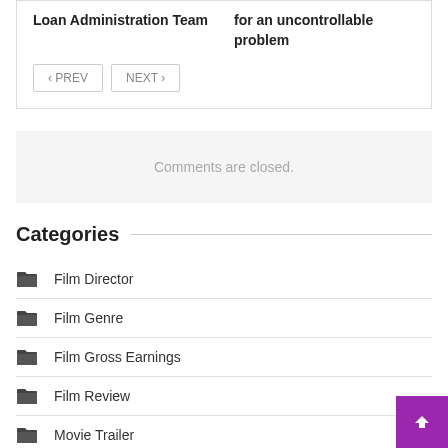Loan Administration Team
for an uncontrollable problem
< PREV   NEXT >
Comments are closed.
Categories
Film Director
Film Genre
Film Gross Earnings
Film Review
Movie Trailer